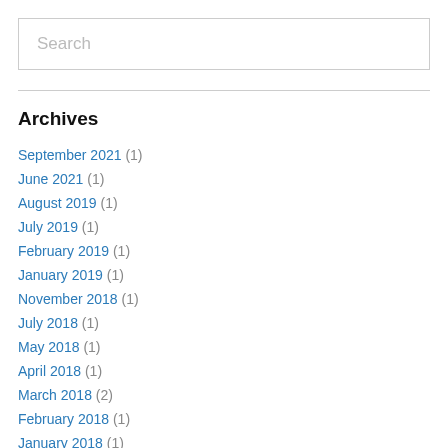Search
Archives
September 2021 (1)
June 2021 (1)
August 2019 (1)
July 2019 (1)
February 2019 (1)
January 2019 (1)
November 2018 (1)
July 2018 (1)
May 2018 (1)
April 2018 (1)
March 2018 (2)
February 2018 (1)
January 2018 (1)